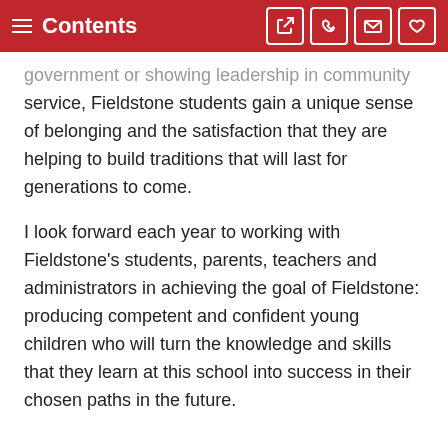Contents
government or showing leadership in community service, Fieldstone students gain a unique sense of belonging and the satisfaction that they are helping to build traditions that will last for generations to come.
I look forward each year to working with Fieldstone's students, parents, teachers and administrators in achieving the goal of Fieldstone: producing competent and confident young children who will turn the knowledge and skills that they learn at this school into success in their chosen paths in the future.
Ginie Wong
Head of School